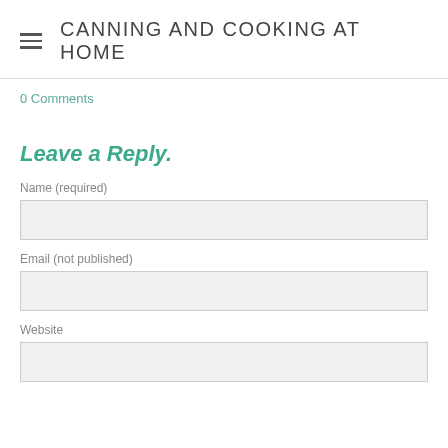CANNING AND COOKING AT HOME
0 Comments
Leave a Reply.
Name (required)
Email (not published)
Website